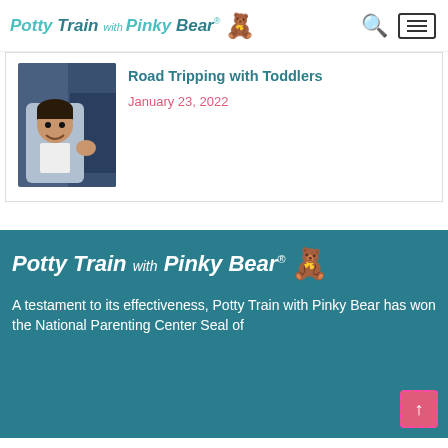Potty Train with Pinky Bear®
Road Tripping with Toddlers
January 23, 2022
[Figure (photo): Toddler smiling in a car seat being buckled in by an adult]
[Figure (logo): Potty Train with Pinky Bear® logo in white on teal background]
A testament to its effectiveness, Potty Train with Pinky Bear has won the National Parenting Center Seal of